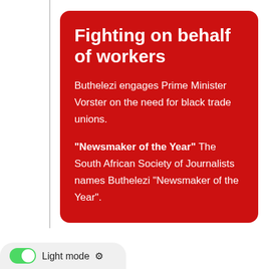Fighting on behalf of workers
Buthelezi engages Prime Minister Vorster on the need for black trade unions.
“Newsmaker of the Year”  The South African Society of Journalists names Buthelezi “Newsmaker of the Year”.
Light mode ⚙